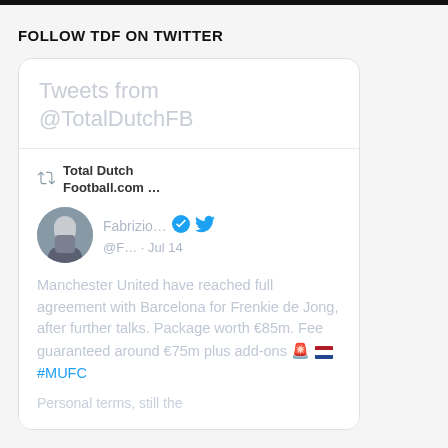FOLLOW TDF ON TWITTER
[Figure (screenshot): Embedded Twitter widget showing tweets from @TotalDutchFB. Contains a retweet by Total Dutch Football.com of a tweet by Fabrizio... (@F...) dated Jul 14, stating: Manchester United have reached full agreement with Barcelona for Frenkie de Jong, after further talks. Package worth €85m. Fee guaranteed around €75m plus add-ons [flag emojis] #MUFC. Partially visible text at bottom: Personal terms, still the]
Manchester United have reached full agreement with Barcelona for Frenkie de Jong, after further talks. Package worth €85m. Fee guaranteed around €75m plus add-ons 🚨🇳🇱 #MUFC